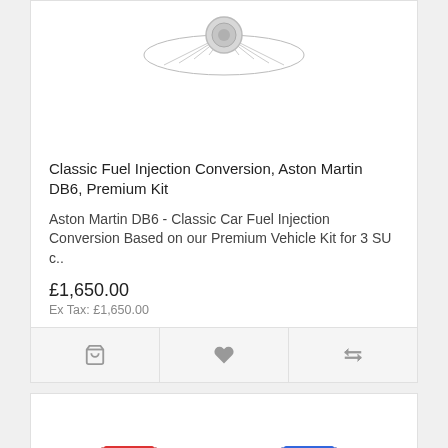[Figure (photo): Partial product image of a fuel injection kit component, cropped at top]
Classic Fuel Injection Conversion, Aston Martin DB6, Premium Kit
Aston Martin DB6 - Classic Car Fuel Injection Conversion Based on our Premium Vehicle Kit for 3 SU c..
£1,650.00
Ex Tax: £1,650.00
[Figure (photo): Second product partial image showing what appears to be fuel injection components in red and blue, cropped at bottom]